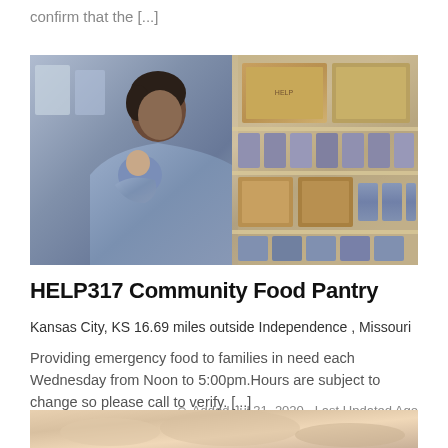confirm that the [...]
[Figure (photo): A man holding a child in a food pantry, with shelves of boxed goods and canned items visible on the right side.]
HELP317 Community Food Pantry
Kansas City, KS 16.69 miles outside Independence , Missouri
Providing emergency food to families in need each Wednesday from Noon to 5:00pm.Hours are subject to change so please call to verify. [...]
Added Jul 31, 2020  Last Updated Ago
[Figure (photo): Partial photo at the bottom of the page, appears to show food items.]